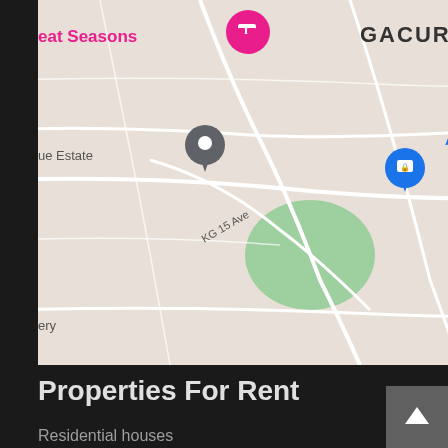[Figure (map): Google Maps screenshot showing Gacuriro area in Kigali, Rwanda, with pins for Great Seasons, AutoXpress Rwanda - Nyarutarama, a blue location pin, and Pili Pili restaurant. Streets shown include KG 15 Ave and KG 12 Ave.]
Properties For Rent
Residential houses
Apartments
Commercial houses
Offices
Warehouse
Townhouse